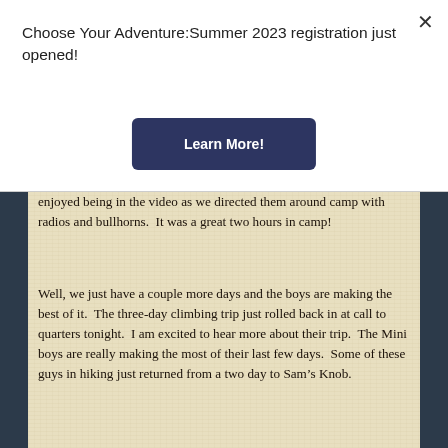Choose Your Adventure: Summer 2023 registration just opened!
Learn More!
enjoyed being in the video as we directed them around camp with radios and bullhorns.  It was a great two hours in camp!
Well, we just have a couple more days and the boys are making the best of it.  The three-day climbing trip just rolled back in at call to quarters tonight.  I am excited to hear more about their trip.  The Mini boys are really making the most of their last few days.  Some of these guys in hiking just returned from a two day to Sam's Knob.